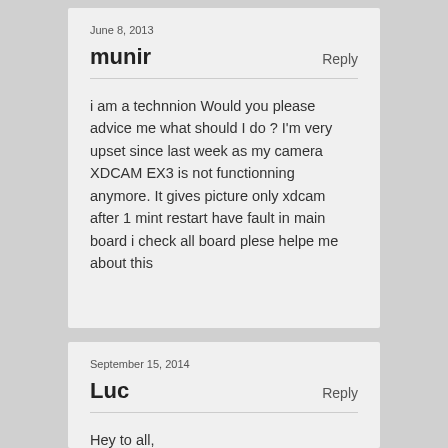June 8, 2013
munir
Reply
i am a technnion Would you please advice me what should I do ? I'm very upset since last week as my camera XDCAM EX3 is not functionning anymore. It gives picture only xdcam after 1 mint restart have fault in main board i check all board plese helpe me about this
September 15, 2014
Luc
Reply
Hey to all,
I know it is an old thread but as an